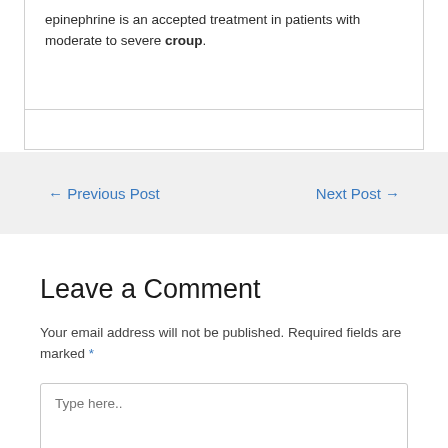epinephrine is an accepted treatment in patients with moderate to severe croup.
← Previous Post   Next Post →
Leave a Comment
Your email address will not be published. Required fields are marked *
Type here..